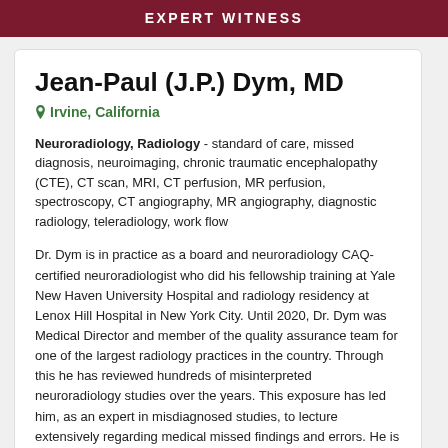EXPERT WITNESS
Jean-Paul (J.P.) Dym, MD
Irvine, California
Neuroradiology, Radiology - standard of care, missed diagnosis, neuroimaging, chronic traumatic encephalopathy (CTE), CT scan, MRI, CT perfusion, MR perfusion, spectroscopy, CT angiography, MR angiography, diagnostic radiology, teleradiology, work flow
Dr. Dym is in practice as a board and neuroradiology CAQ-certified neuroradiologist who did his fellowship training at Yale New Haven University Hospital and radiology residency at Lenox Hill Hospital in New York City. Until 2020, Dr. Dym was Medical Director and member of the quality assurance team for one of the largest radiology practices in the country. Through this he has reviewed hundreds of misinterpreted neuroradiology studies over the years. This exposure has led him, as an expert in misdiagnosed studies, to lecture extensively regarding medical missed findings and errors. He is now an advisor